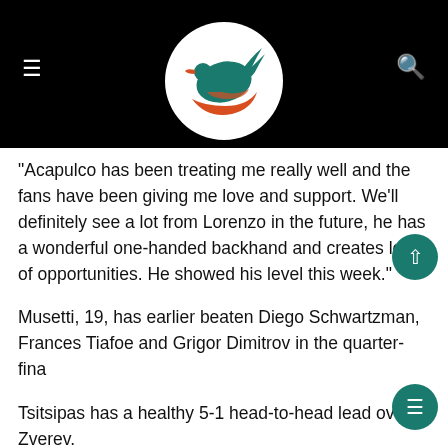[Figure (logo): Website header with black background, hamburger menu icon on left, search icon on right, and a circular logo in the center featuring a green and orange bird/rooster design on white circle.]
“Acapulco has been treating me really well and the fans have been giving me love and support. We’ll definitely see a lot from Lorenzo in the future, he has a wonderful one-handed backhand and creates lots of opportunities. He showed his level this week.”
Musetti, 19, has earlier beaten Diego Schwartzman, Frances Tiafoe and Grigor Dimitrov in the quarter-fina
Tsitsipas has a healthy 5-1 head-to-head lead over Zverev.
“I am really looking forward to the final,” he said.